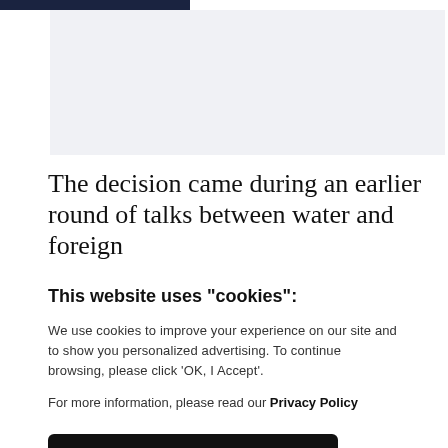[Figure (photo): Partially visible image placeholder at top of article page, light gray background]
The decision came during an earlier round of talks between water and foreign
This website uses "cookies":
We use cookies to improve your experience on our site and to show you personalized advertising. To continue browsing, please click 'OK, I Accept'.
For more information, please read our Privacy Policy
Ok, I Accept